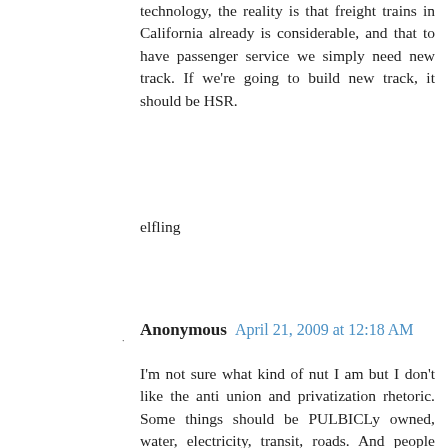technology, the reality is that freight trains in California already is considerable, and that to have passenger service we simply need new track. If we're going to build new track, it should be HSR.
elfling
Reply
Anonymous  April 21, 2009 at 12:18 AM
I'm not sure what kind of nut I am but I don't like the anti union and privatization rhetoric. Some things should be PULBICLy owned, water, electricity, transit, roads. And people whowork for a living, not at fluffy suit and tie lets go to lunch on the companies expense account and pass all the costs on to the consumer -type jobs - but the rest of us who do the work nobody else wants to do because its not hoity enough for a white woman... we deserve as much pay as we can bargain for and Ill tell you that what I do for a living is just as valuable as what some shithead in an armani suit in the Fi DI does. Workers Unite. YOu want your precious trains to run at all? you want your toilets